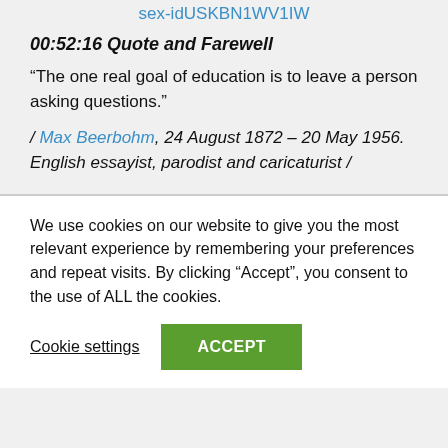sex-idUSKBN1WV1IW
00:52:16 Quote and Farewell
“The one real goal of education is to leave a person asking questions.”
/ Max Beerbohm, 24 August 1872 – 20 May 1956. English essayist, parodist and caricaturist /
We use cookies on our website to give you the most relevant experience by remembering your preferences and repeat visits. By clicking “Accept”, you consent to the use of ALL the cookies.
Cookie settings
ACCEPT